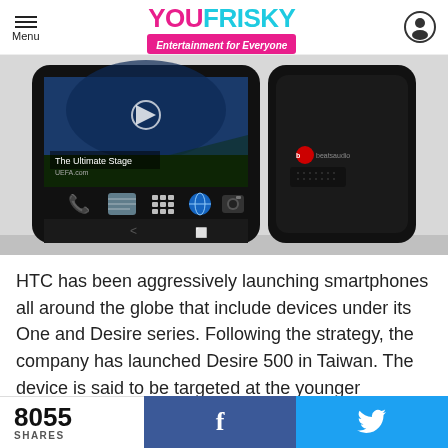Menu | YOU FRISKY Entertainment for Everyone
[Figure (photo): Two HTC Desire 500 smartphones shown side by side — front view showing Android home screen with 'The Ultimate Stage' video, and back view showing Beats Audio logo on dark body.]
HTC has been aggressively launching smartphones all around the globe that include devices under its One and Desire series. Following the strategy, the company has launched Desire 500 in Taiwan. The device is said to be targeted at the younger consumers and is considered a mid-ranged
8055 SHARES  f  🐦